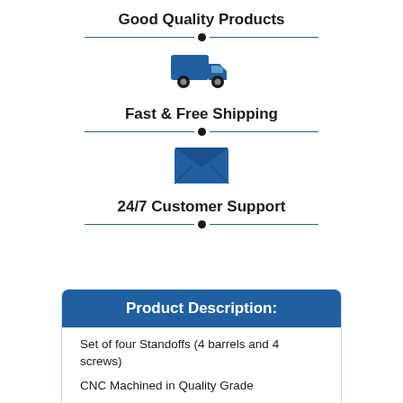Good Quality Products
[Figure (illustration): Blue delivery truck icon]
Fast & Free Shipping
[Figure (illustration): Blue envelope/mail icon]
24/7 Customer Support
Product Description:
Set of four Standoffs (4 barrels and 4 screws)
CNC Machined in Quality Grade